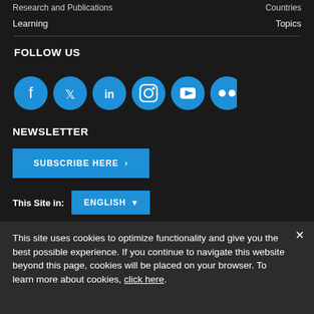Research and Publications    Countries
Learning    Topics
FOLLOW US
[Figure (infographic): Six social media icon circles: Facebook, Twitter, LinkedIn, Instagram, YouTube, Flickr — all in blue circles]
NEWSLETTER
SUBSCRIBE HERE >
This Site in:  ENGLISH ▾
Legal  |  Privacy Notice  |  Accessibility  |  Access to Information  |  Info  |  SCAM ALERTS  |  REPORT FRAUD OR CORRUPTION
This site uses cookies to optimize functionality and give you the best possible experience. If you continue to navigate this website beyond this page, cookies will be placed on your browser. To learn more about cookies, click here.